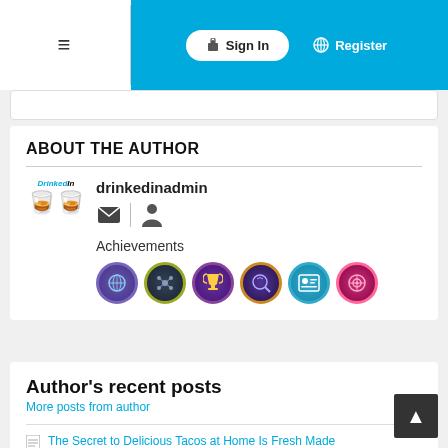Sign In | Register
ABOUT THE AUTHOR
drinkedinadmin
Achievements
[Figure (other): Six circular achievement badge icons in various colors (purple, olive, dark purple, gradient, blue, pink)]
Author's recent posts
More posts from author
The Secret to Delicious Tacos at Home Is Fresh Made